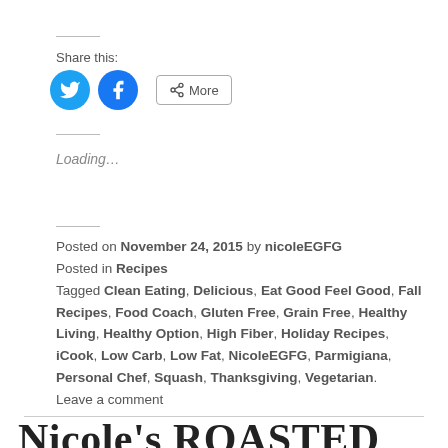Share this:
[Figure (other): Twitter share button (blue circle with bird icon), Facebook share button (blue circle with f icon), and More button with share icon]
Loading...
Posted on November 24, 2015 by nicoleEGFG
Posted in Recipes
Tagged Clean Eating, Delicious, Eat Good Feel Good, Fall Recipes, Food Coach, Gluten Free, Grain Free, Healthy Living, Healthy Option, High Fiber, Holiday Recipes, iCook, Low Carb, Low Fat, NicoleEGFG, Parmigiana, Personal Chef, Squash, Thanksgiving, Vegetarian.
Leave a comment
Nicole's ROASTED